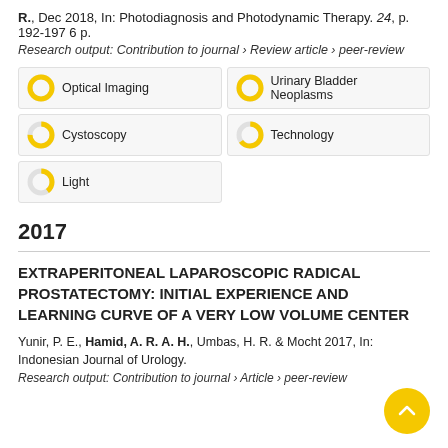R., Dec 2018, In: Photodiagnosis and Photodynamic Therapy. 24, p. 192-197 6 p.
Research output: Contribution to journal › Review article › peer-review
[Figure (infographic): Five keyword badge tags with donut chart icons: Optical Imaging (100%), Urinary Bladder Neoplasms (100%), Cystoscopy (~75%), Technology (~65%), Light (~40%)]
2017
EXTRAPERITONEAL LAPAROSCOPIC RADICAL PROSTATECTOMY: INITIAL EXPERIENCE AND LEARNING CURVE OF A VERY LOW VOLUME CENTER
Yunir, P. E., Hamid, A. R. A. H., Umbas, H. R. & Mocht 2017, In: Indonesian Journal of Urology.
Research output: Contribution to journal › Article › peer-review